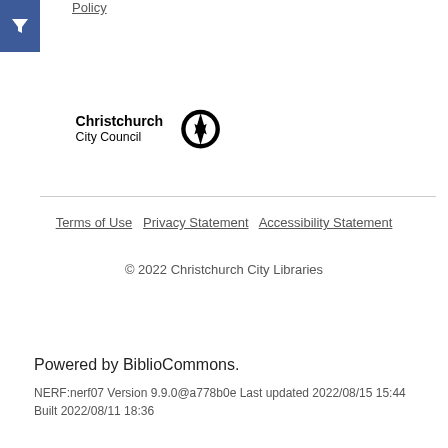Policy
[Figure (logo): Blue square filter/funnel icon button]
[Figure (logo): Christchurch City Council logo with black compass/arrow circular emblem]
Terms of Use   Privacy Statement   Accessibility Statement
© 2022 Christchurch City Libraries
Powered by BiblioCommons.
NERF:nerf07 Version 9.9.0@a778b0e Last updated 2022/08/15 15:44 Built 2022/08/11 18:36